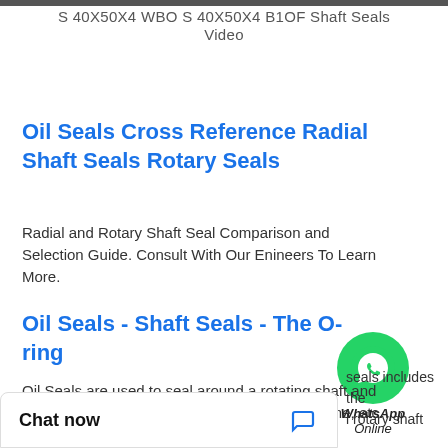S 40X50X4 WBO S 40X50X4 B1OF Shaft Seals Video
Oil Seals Cross Reference Radial Shaft Seals Rotary Seals
Radial and Rotary Shaft Seal Comparison and Selection Guide. Consult With Our Enineers To Learn More.
Oil Seals - Shaft Seals - The O-ring Store
Oil Seals are used to seal around a rotating shaft and keep an oil-based lubricant inside an axle, engine, etc. Grease seals are used to seal more viscous ...
Rotary Seals, Shaft Seals, Radial Oil Seals | Trelleborg
seals includes the l rotary shaft